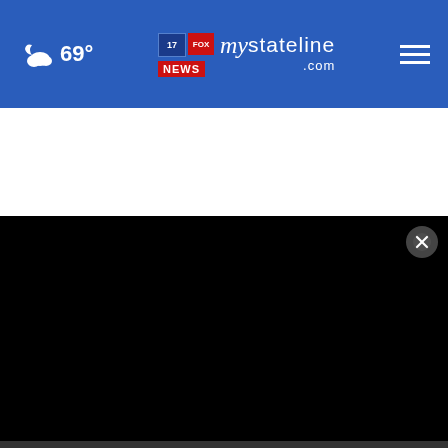69° mystateline.com NEWS
[Figure (screenshot): Black video player area with close (X) button in top right, progress bar at bottom, play and mute controls, timestamp 00:00, and fullscreen icon]
Rockford blood center has a new home